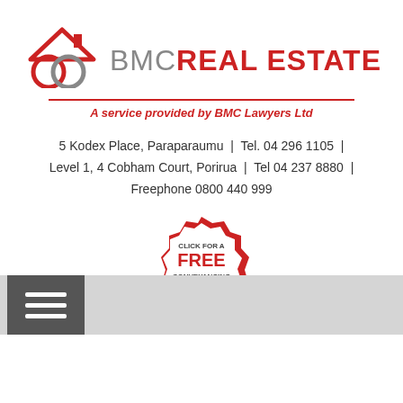[Figure (logo): BMC Real Estate logo with interlocking circles and house icon, red and grey colors. Text reads BMC REAL ESTATE with a red underline.]
A service provided by BMC Lawyers Ltd
5 Kodex Place, Paraparaumu | Tel. 04 296 1105 |
Level 1, 4 Cobham Court, Porirua | Tel 04 237 8880 |
Freephone 0800 440 999
[Figure (infographic): Red stamp/badge button: CLICK FOR A FREE CONVEYANCING QUOTE with a checkmark]
[Figure (other): Dark grey navigation bar with hamburger menu button (three white horizontal lines on dark grey square background)]